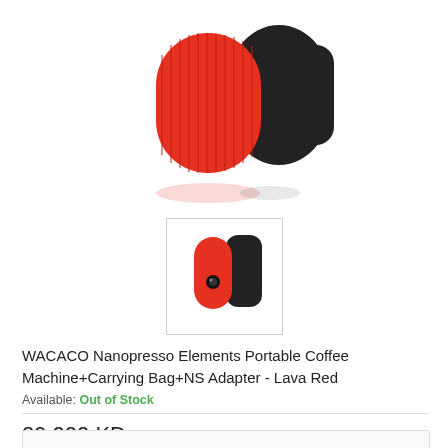[Figure (photo): Main product photo showing WACACO Nanopresso Lava Red portable coffee machine with red ridged base top half and black carrying case, white background, slightly cropped at top]
[Figure (photo): Thumbnail image of WACACO Nanopresso Lava Red with black carrying case, inside a bordered thumbnail box]
WACACO Nanopresso Elements Portable Coffee Machine+Carrying Bag+NS Adapter - Lava Red
Available: Out of Stock
29.000 KD
NOTIFY ME WHEN AVAILABLE